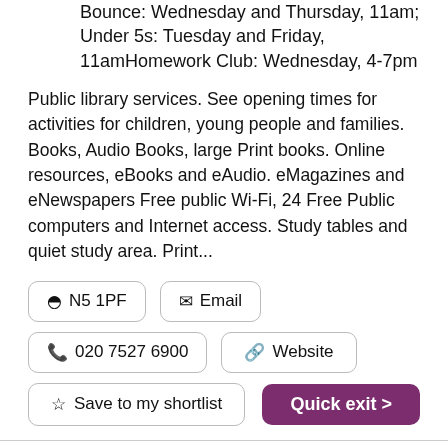Bounce: Wednesday and Thursday, 11am; Under 5s: Tuesday and Friday, 11amHomework Club: Wednesday, 4-7pm
Public library services. See opening times for activities for children, young people and families. Books, Audio Books, large Print books. Online resources, eBooks and eAudio. eMagazines and eNewspapers Free public Wi-Fi, 24 Free Public computers and Internet access. Study tables and quiet study area. Print...
N5 1PF
Email
020 7527 6900
Website
Save to my shortlist
Quick exit >